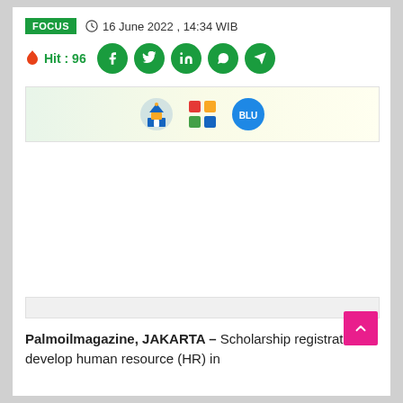FOCUS  ⊙  16 June 2022 , 14:34 WIB
🔥 Hit : 96
[Figure (infographic): Social media share buttons: Facebook, Twitter, LinkedIn, WhatsApp, Telegram — all green circles with white icons]
[Figure (infographic): Banner image with light green/yellow background showing three logos: a blue house/building logo, a colorful grid/app logo, and a blue BLU logo]
[Figure (other): Empty white advertisement space]
[Figure (other): Gray rectangular bar (advertisement placeholder)]
Palmoilmagazine, JAKARTA – Scholarship registration to develop human resource (HR) in